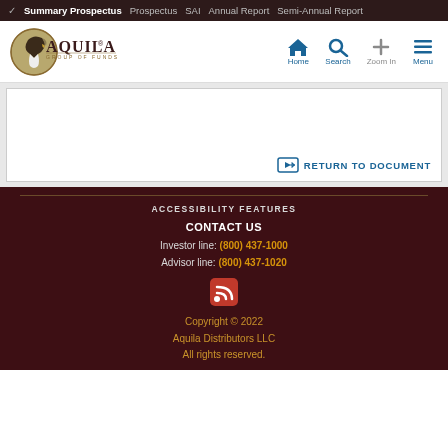✓ Summary Prospectus   Prospectus   SAI   Annual Report   Semi-Annual Report
[Figure (logo): Aquila Group of Funds logo with eagle head graphic]
RETURN TO DOCUMENT
ACCESSIBILITY FEATURES
CONTACT US
Investor line: (800) 437-1000
Advisor line: (800) 437-1020
[Figure (other): RSS feed icon]
Copyright © 2022
Aquila Distributors LLC
All rights reserved.